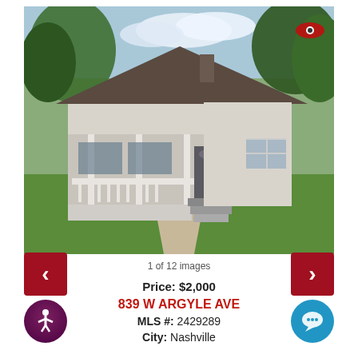[Figure (photo): Exterior photo of a small white/gray single-story house with a covered front porch with white railing, dark front door, one window on the right side, brown roof, green lawn, concrete walkway, and trees in the background. A red eye/camera icon is in the upper right corner of the photo.]
1 of 12 images
Price: $2,000
839 W ARGYLE AVE
MLS #: 2429289
City: Nashville